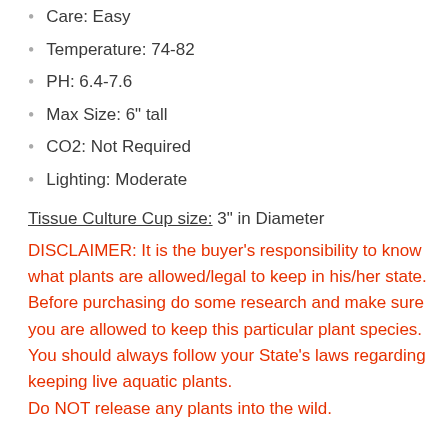Care: Easy
Temperature: 74-82
PH: 6.4-7.6
Max Size: 6" tall
CO2: Not Required
Lighting: Moderate
Tissue Culture Cup size: 3" in Diameter
DISCLAIMER: It is the buyer’s responsibility to know what plants are allowed/legal to keep in his/her state. Before purchasing do some research and make sure you are allowed to keep this particular plant species. You should always follow your State’s laws regarding keeping live aquatic plants.
Do NOT release any plants into the wild.